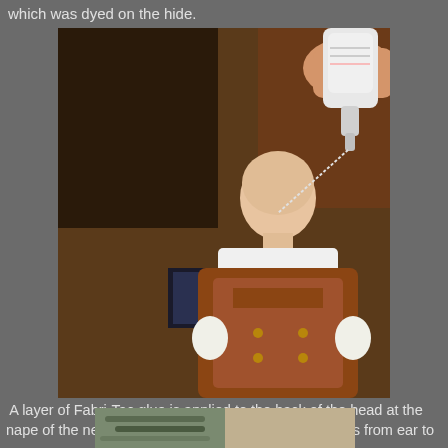which was dyed on the hide.
[Figure (photo): A hand holding a small glue bottle applying Fabri-Tac glue to the back of a doll's head, the doll is wearing a brown leather outfit with brass buttons.]
A layer of Fabri-Tac glue is applied to the back of the head at the nape of the neck. This layer is about 3/4" high and runs from ear to ear.
[Figure (photo): Close-up of fur or hair material being applied to a surface.]